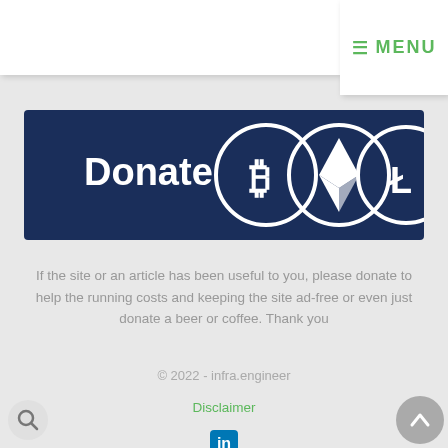≡ MENU
[Figure (illustration): Donate banner with Bitcoin, Ethereum, and Litecoin cryptocurrency logos on dark navy blue background with text 'Donate']
If the site or an article has been useful to you, please donate to help the running costs and keeping the site ad-free or even just donate a beer or coffee. Thank you
© 2022 - infra.engineer
Disclaimer
[Figure (logo): LinkedIn icon - blue square with white 'in' text]